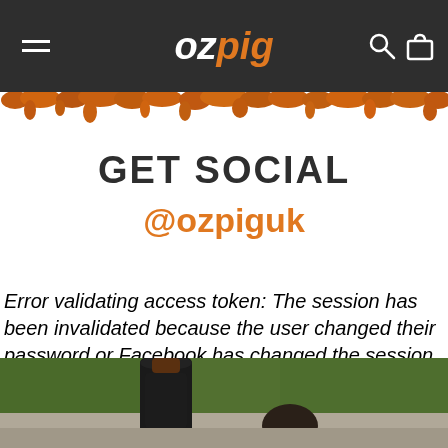OZpig — navigation bar with hamburger menu, logo, search and cart icons
[Figure (illustration): Orange paint splatter decorative band below the navigation header]
GET SOCIAL
@ozpiguk
Error validating access token: The session has been invalidated because the user changed their password or Facebook has changed the session for security reasons.
[Figure (photo): Outdoor photo showing a dark metal cylindrical smoker/BBQ grill and a round kettle grill on a paved surface with green foliage in the background]